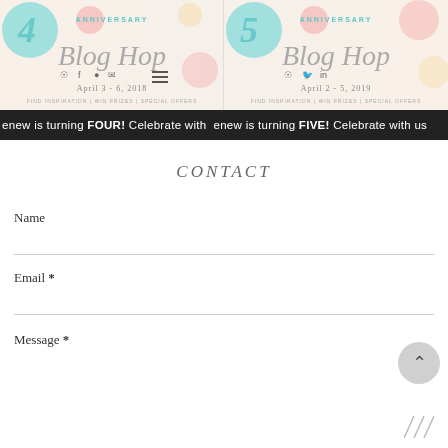[Figure (illustration): Two blog hop anniversary banners side by side. Left shows '4th Anniversary Blog Hop, April 3-6, 2018, Find Inspiration | Win Prizes | Special Offers'. Right shows '5th Anniversary Blog Hop, April 2-5, 2019, Find Inspiration | Win Prizes | Special Offers'. Both feature decorative circles in teal and pink, social media icons, and script lettering.]
enew is turning FOUR! Celebrate with enew is turning FIVE! Celebrate with us
CONTACT
Name
Email *
Message *